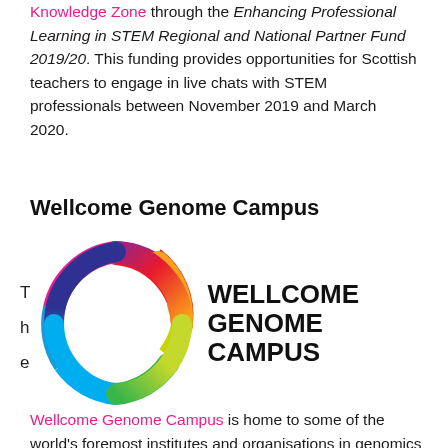Knowledge Zone through the Enhancing Professional Learning in STEM Regional and National Partner Fund 2019/20. This funding provides opportunities for Scottish teachers to engage in live chats with STEM professionals between November 2019 and March 2020.
Wellcome Genome Campus
[Figure (logo): Wellcome Genome Campus logo — a multicolour C-shaped arc (rainbow gradient from red/orange at top, through yellow-green, teal, blue, purple) with the text WELLCOME GENOME CAMPUS in large bold black letters to the right.]
Wellcome Genome Campus is home to some of the world's foremost institutes and organisations in genomics and computational biology,